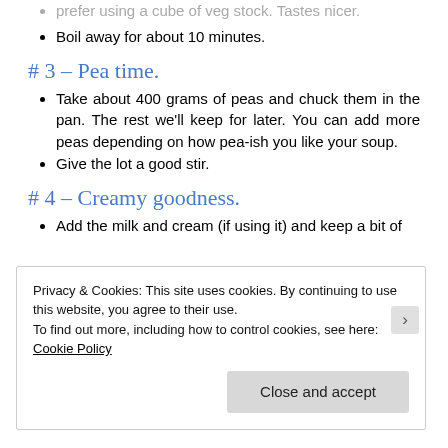prefer using a cube of veg stock. Tastes nicer.
Boil away for about 10 minutes.
# 3 – Pea time.
Take about 400 grams of peas and chuck them in the pan. The rest we'll keep for later. You can add more peas depending on how pea-ish you like your soup.
Give the lot a good stir.
# 4 – Creamy goodness.
Add the milk and cream (if using it) and keep a bit of
Privacy & Cookies: This site uses cookies. By continuing to use this website, you agree to their use.
To find out more, including how to control cookies, see here: Cookie Policy